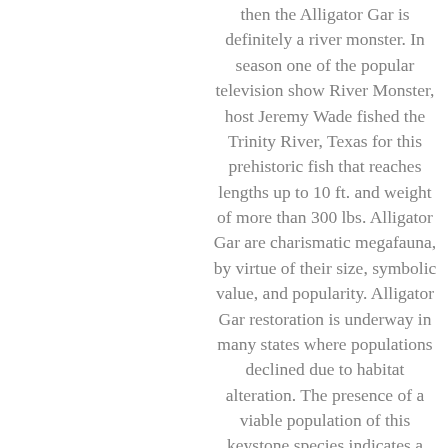then the Alligator Gar is definitely a river monster. In season one of the popular television show River Monster, host Jeremy Wade fished the Trinity River, Texas for this prehistoric fish that reaches lengths up to 10 ft. and weight of more than 300 lbs. Alligator Gar are charismatic megafauna, by virtue of their size, symbolic value, and popularity. Alligator Gar restoration is underway in many states where populations declined due to habitat alteration. The presence of a viable population of this keystone species indicates a healthy riverine fish